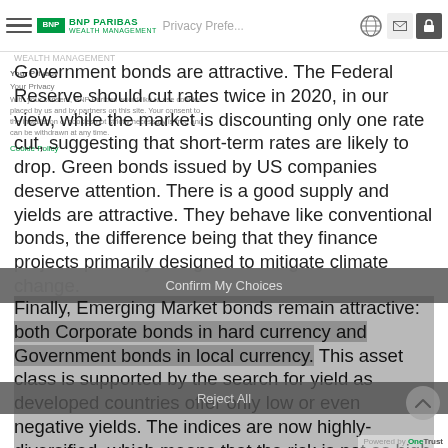BNP PARIBAS WEALTH MANAGEMENT — Privacy Preferences
Government bonds are attractive. The Federal Reserve should cut rates twice in 2020, in our view, while the market is discounting only one rate cut, suggesting that short-term rates are likely to drop. Green bonds issued by US companies deserve attention. There is a good supply and yields are attractive. They behave like conventional bonds, the difference being that they finance projects primarily designed to mitigate climate change.
Finally, Emerging Market bonds remain attractive: both Corporate bonds in hard currency and Government bonds in local currency. This asset class is supported by the search for yield as developed countries offer only low or even negative yields. The indices are now highly-diversified, which means that the risk is not as high as in the past. Emerging Market currencies